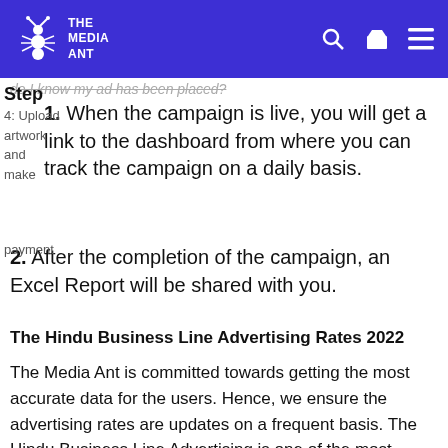THE MEDIA ANT
do I know my ad has been placed?
Step
4: Upload artwork and make payment
1. When the campaign is live, you will get a link to the dashboard from where you can track the campaign on a daily basis.
2. After the completion of the campaign, an Excel Report will be shared with you.
The Hindu Business Line Advertising Rates 2022
The Media Ant is committed towards getting the most accurate data for the users. Hence, we ensure the advertising rates are updates on a frequent basis. The Hindu Business Line Advertising is one of the most popular Digital advertising option hence it is very important for advertisers to know The Hindu Business